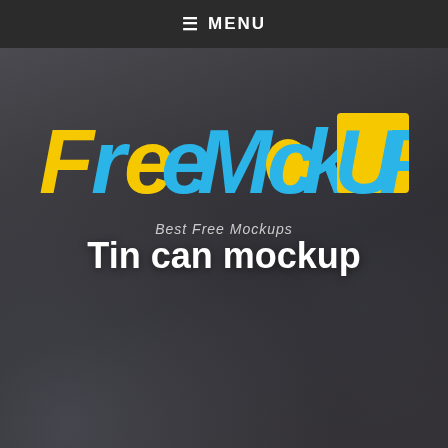≡ MENU
[Figure (logo): FreeMckUP logo with blue and yellow lettering on dark blurred camera background, tagline: Best Free Mockups]
Tin can mockup
We use cookies to ensure that we give you the best experience on our website. If you continue to use this site, we will assume that you are happy with it.